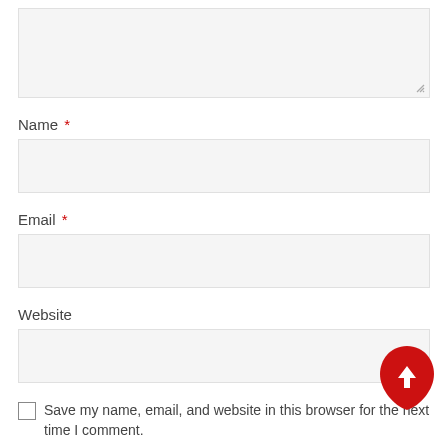[Figure (screenshot): Partial textarea input field at top of page with resize handle in bottom-right corner]
Name *
[Figure (screenshot): Empty text input field for Name]
Email *
[Figure (screenshot): Empty text input field for Email]
Website
[Figure (screenshot): Empty text input field for Website]
[Figure (illustration): Red teardrop/droplet shaped scroll-to-top button with white upward arrow icon]
Save my name, email, and website in this browser for the next time I comment.